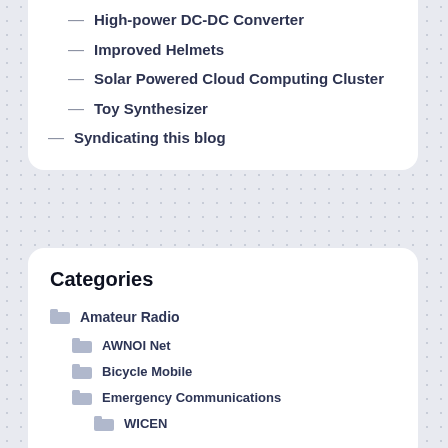— High-power DC-DC Converter
— Improved Helmets
— Solar Powered Cloud Computing Cluster
— Toy Synthesizer
— Syndicating this blog
Categories
Amateur Radio
AWNOI Net
Bicycle Mobile
Emergency Communications
WICEN